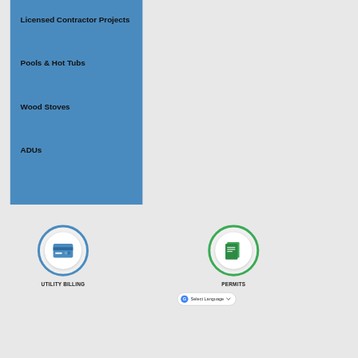Licensed Contractor Projects
Pools & Hot Tubs
Wood Stoves
ADUs
[Figure (illustration): Blue circle icon with credit card symbol inside white circle, labeled UTILITY BILLING]
UTILITY BILLING
[Figure (illustration): Green circle icon with document/permit symbol inside white circle, labeled PERMITS]
PERMITS
Select Language